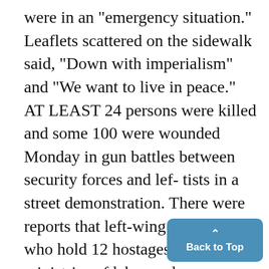were in an "emergency situation." Leaflets scattered on the sidewalk said, "Down with imperialism" and "We want to live in peace." AT LEAST 24 persons were killed and some 100 were wounded Monday in gun battles between security forces and lef-tists in a street demonstration. There were reports that left-wing ac-tivists, who hold 12 hostages in the ministries of labor and economy, oc-cupied the Ministry of Education yesterday and were holding 20 ploveesand visitors captives.
[Figure (other): Back to Top button — a rounded blue rectangle with an upward caret and the text 'Back to Top']